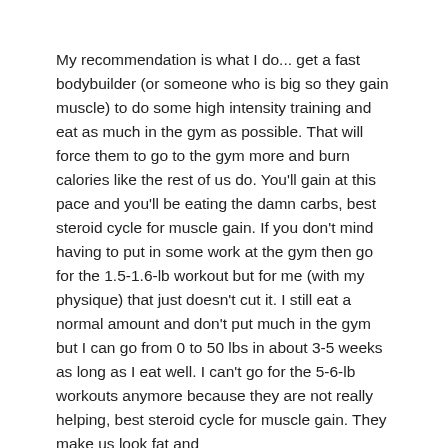My recommendation is what I do... get a fast bodybuilder (or someone who is big so they gain muscle) to do some high intensity training and eat as much in the gym as possible. That will force them to go to the gym more and burn calories like the rest of us do. You'll gain at this pace and you'll be eating the damn carbs, best steroid cycle for muscle gain. If you don't mind having to put in some work at the gym then go for the 1.5-1.6-lb workout but for me (with my physique) that just doesn't cut it. I still eat a normal amount and don't put much in the gym but I can go from 0 to 50 lbs in about 3-5 weeks as long as I eat well. I can't go for the 5-6-lb workouts anymore because they are not really helping, best steroid cycle for muscle gain. They make us look fat and